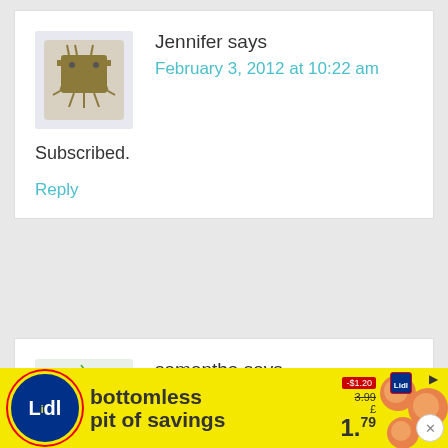Jennifer says
February 3, 2012 at 10:22 am
Subscribed.
Reply
samantha says
February 3, 2012 at 10:22 am
Shared Yay starbucks!!!
[Figure (other): Lidl advertisement banner: bottomless pit of savings, showing peaches and price £1.79]